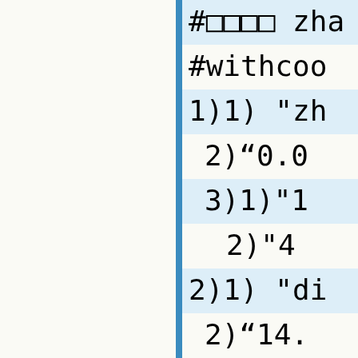#□□□□ zha
#withcoo
1)1) "zh
2)"0.0
3)1)"1
2)"4
2)1) "di
2)"14.